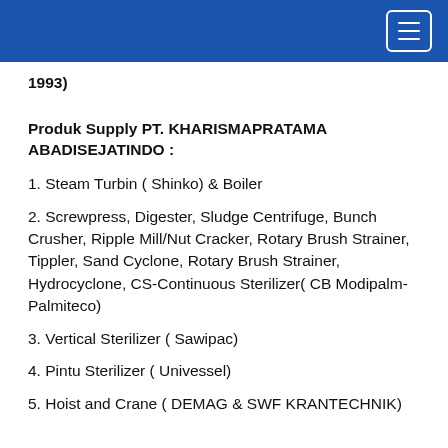1993)
Produk Supply PT. KHARISMAPRATAMA ABADISEJATINDO :
1. Steam Turbin ( Shinko) & Boiler
2. Screwpress, Digester, Sludge Centrifuge, Bunch Crusher, Ripple Mill/Nut Cracker, Rotary Brush Strainer, Tippler, Sand Cyclone, Rotary Brush Strainer, Hydrocyclone, CS-Continuous Sterilizer( CB Modipalm-Palmiteco)
3. Vertical Sterilizer ( Sawipac)
4. Pintu Sterilizer ( Univessel)
5. Hoist and Crane ( DEMAG & SWF KRANTECHNIK)